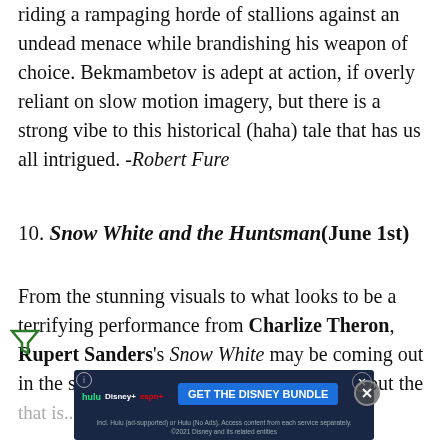riding a rampaging horde of stallions against an undead menace while brandishing his weapon of choice. Bekmambetov is adept at action, if overly reliant on slow motion imagery, but there is a strong vibe to this historical (haha) tale that has us all intrigued. -Robert Fure
10. Snow White and the Huntsman (June 1st)
From the stunning visuals to what looks to be a terrifying performance from Charlize Theron, Rupert Sanders's Snow White may be coming out in the same year as Tarsem Singh's vision, but the that is... two
[Figure (other): Advertisement banner for Disney Bundle (Hulu, Disney+, ESPN+) with blue background and GET THE DISNEY BUNDLE call to action]